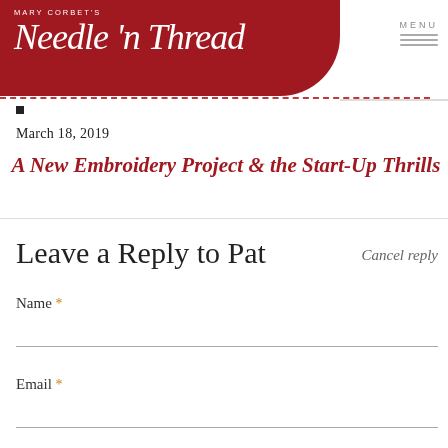Mary Corbet's Needle 'n Thread — MENU
March 18, 2019
A New Embroidery Project & the Start-Up Thrills
Leave a Reply to Pat
Cancel reply
Name *
Email *